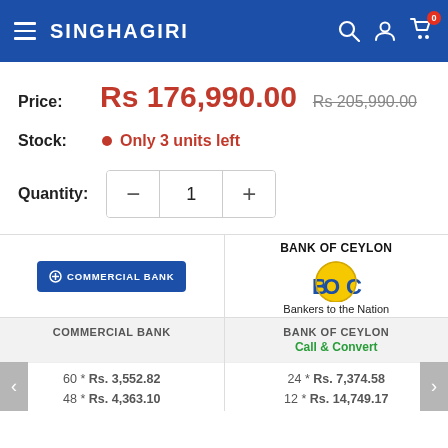[Figure (screenshot): Singhagiri e-commerce website header with logo, hamburger menu, search, account, and cart icons on blue background]
Price: Rs 176,990.00  Rs 205,990.00
Stock: Only 3 units left
Quantity: 1
[Figure (logo): Commercial Bank logo - blue rectangle with white text and icon]
[Figure (logo): Bank of Ceylon BOC logo - yellow circular BOC letters with elephant, text: BANK OF CEYLON, Bankers to the Nation]
| COMMERCIAL BANK | BANK OF CEYLON Call & Convert |
| --- | --- |
| 60 * Rs. 3,552.82 | 24 * Rs. 7,374.58 |
| 48 * Rs. 4,363.10 | 12 * Rs. 14,749.17 |